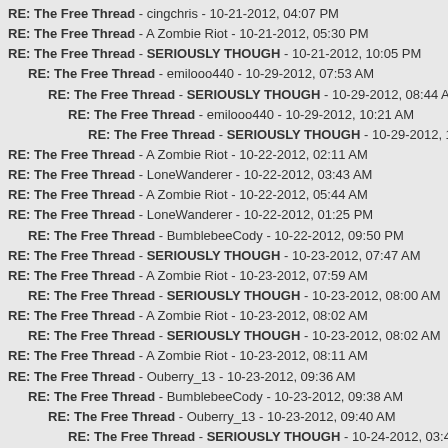RE: The Free Thread - cingchris - 10-21-2012, 04:07 PM
RE: The Free Thread - A Zombie Riot - 10-21-2012, 05:30 PM
RE: The Free Thread - SERIOUSLY THOUGH - 10-21-2012, 10:05 PM
RE: The Free Thread - emilooo440 - 10-29-2012, 07:53 AM
RE: The Free Thread - SERIOUSLY THOUGH - 10-29-2012, 08:44 AM
RE: The Free Thread - emilooo440 - 10-29-2012, 10:21 AM
RE: The Free Thread - SERIOUSLY THOUGH - 10-29-2012, 10:59 AM
RE: The Free Thread - A Zombie Riot - 10-22-2012, 02:11 AM
RE: The Free Thread - LoneWanderer - 10-22-2012, 03:43 AM
RE: The Free Thread - A Zombie Riot - 10-22-2012, 05:44 AM
RE: The Free Thread - LoneWanderer - 10-22-2012, 01:25 PM
RE: The Free Thread - BumblebeeCody - 10-22-2012, 09:50 PM
RE: The Free Thread - SERIOUSLY THOUGH - 10-23-2012, 07:47 AM
RE: The Free Thread - A Zombie Riot - 10-23-2012, 07:59 AM
RE: The Free Thread - SERIOUSLY THOUGH - 10-23-2012, 08:00 AM
RE: The Free Thread - A Zombie Riot - 10-23-2012, 08:02 AM
RE: The Free Thread - SERIOUSLY THOUGH - 10-23-2012, 08:02 AM
RE: The Free Thread - A Zombie Riot - 10-23-2012, 08:11 AM
RE: The Free Thread - Ouberry_13 - 10-23-2012, 09:36 AM
RE: The Free Thread - BumblebeeCody - 10-23-2012, 09:38 AM
RE: The Free Thread - Ouberry_13 - 10-23-2012, 09:40 AM
RE: The Free Thread - SERIOUSLY THOUGH - 10-24-2012, 03:41 AM
RE: The Free Thread - A Zombie Riot - 10-24-2012, 04:34 AM
RE: The Free Thread - SERIOUSLY THOUGH - 10-24-2012, 05:24 AM
RE: The Free Thread - A Zombie Riot - 10-24-2012, 05:27 AM